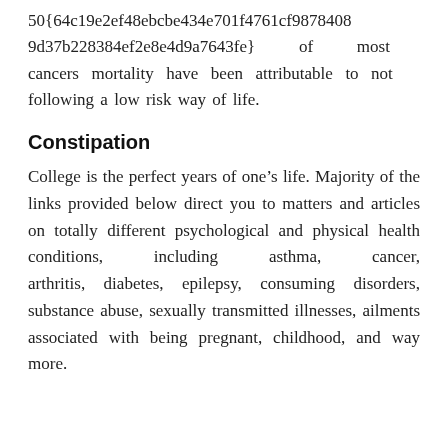50{64c19e2ef48ebcbe434e701f4761cf98784089d37b228384ef2e8e4d9a7643fe}      of      most cancers mortality have been attributable to not following a low risk way of life.
Constipation
College is the perfect years of one’s life. Majority of the links provided below direct you to matters and articles on totally different psychological and physical health conditions, including asthma, cancer, arthritis, diabetes, epilepsy, consuming disorders, substance abuse, sexually transmitted illnesses, ailments associated with being pregnant, childhood, and way more.